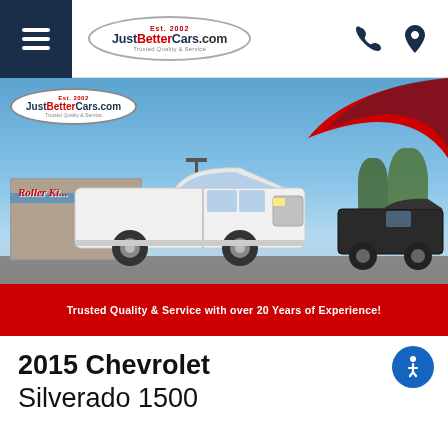JustBetterCars.com - Est. 2002 - Trusted Quality & Service
[Figure (photo): Banner image showing a white 2015 Chevrolet Silverado 1500 pickup truck parked at a car dealership lot. The JustBetterCars.com logo is overlaid in the top-left of the image. A red decorative swoosh graphic is at the top-right. The bottom of the image contains a red banner with white text reading 'Trusted Quality & Service with over 20 Years of Experience!']
2015 Chevrolet Silverado 1500